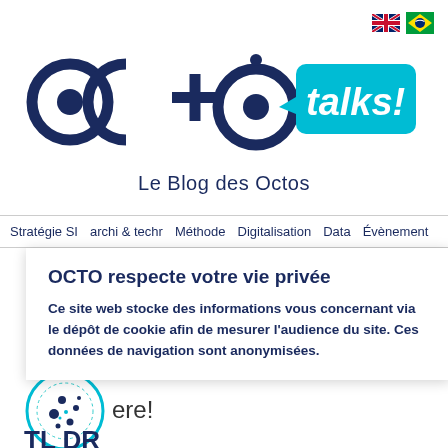[Figure (logo): OCTO talks! logo with teal speech bubble containing 'talks!' in white, and dark navy OCTO symbol letters]
Le Blog des Octos
Stratégie SI  archi & techr  Méthode  Digitalisation  Data  Évènement
OCTO respecte votre vie privée
Ce site web stocke des informations vous concernant via le dépôt de cookie afin de mesurer l'audience du site. Ces données de navigation sont anonymisées.
[Figure (illustration): Cookie icon inside a teal circle, with the text 'ere!' visible to its right]
TL DR